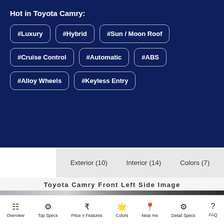Hot in Toyota Camry:
#Luxury
#Hybrid
#Sun / Moon Roof
#Cruise Control
#Automatic
#ABS
#Alloy Wheels
#Keyless Entry
Exterior (10)   Interior (14)   Colors (7)
Toyota Camry Front Left Side Image
[Figure (photo): Toyota Camry front left side image, partially visible]
Overview  Top Specs  Price n Features  Colors  Near me  Detail Specs  FAQ